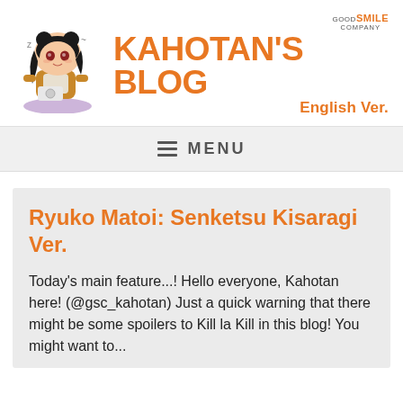[Figure (illustration): Kahotan's Blog header with chibi anime character illustration on the left, 'GOOD SMILE COMPANY' branding, 'KAHOTAN'S BLOG' in large orange text, and 'English Ver.' subtitle]
≡ MENU
Ryuko Matoi: Senketsu Kisaragi Ver.
Today's main feature...! Hello everyone, Kahotan here! (@gsc_kahotan) Just a quick warning that there might be some spoilers to Kill la Kill in this blog! You might want to...